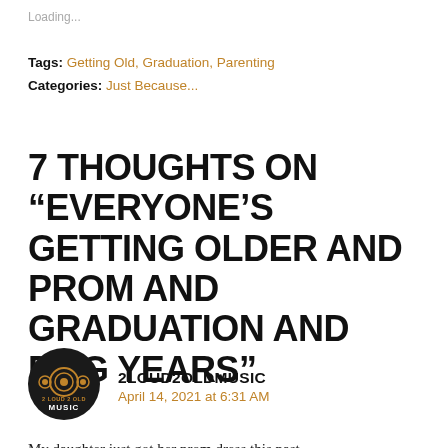Loading...
Tags: Getting Old, Graduation, Parenting
Categories: Just Because...
7 THOUGHTS ON “EVERYONE’S GETTING OLDER AND PROM AND GRADUATION AND DOG YEARS”
[Figure (logo): Circular black logo with speaker icon and text '2 LOUD 2 OLD MUSIC' in orange/gold]
2LOUD2OLDMUSIC
April 14, 2021 at 6:31 AM
My daughter just got her prom dress this past weekend as well. And she finally picked a college. We